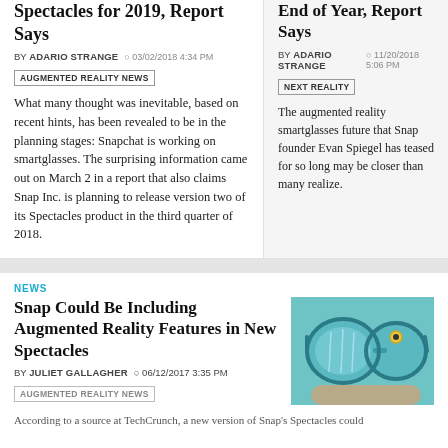Spectacles for 2019, Report Says
BY ADARIO STRANGE  03/02/2018 4:34 PM
AUGMENTED REALITY NEWS
What many thought was inevitable, based on recent hints, has been revealed to be in the planning stages: Snapchat is working on smartglasses. The surprising information came out on March 2 in a report that also claims Snap Inc. is planning to release version two of its Spectacles product in the third quarter of 2018.
End of Year, Report Says
BY ADARIO STRANGE  11/20/2018 5:06 PM
NEXT REALITY
The augmented reality smartglasses future that Snap founder Evan Spiegel has teased for so long may be closer than many realize.
NEWS
Snap Could Be Including Augmented Reality Features in New Spectacles
BY JULIET GALLAGHER  06/12/2017 3:35 PM
AUGMENTED REALITY NEWS
[Figure (photo): Teal/turquoise Snap Spectacles smartglasses being held, showing reflections in the lenses]
According to a source at TechCrunch, a new version of Snap's Spectacles could